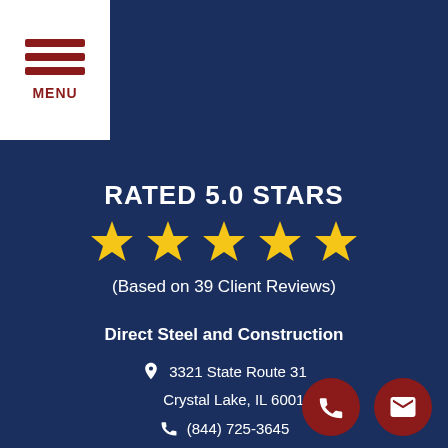[Figure (logo): Hamburger menu button with three horizontal dark red lines and MENU text on white background in top-left corner]
RATED 5.0 STARS
[Figure (infographic): Five gold star rating icons in a row]
(Based on 39 Client Reviews)
Direct Steel and Construction
3321 State Route 31
Crystal Lake, IL 60012
(844) 725-3645
M-F 8-5pm